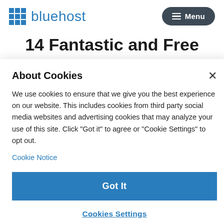bluehost  Menu
14 Fantastic and Free
About Cookies
We use cookies to ensure that we give you the best experience on our website. This includes cookies from third party social media websites and advertising cookies that may analyze your use of this site. Click "Got it" to agree or "Cookie Settings" to opt out.
Cookie Notice
Got It
Cookies Settings